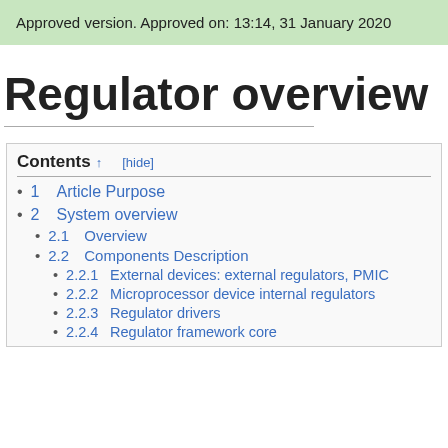Approved version. Approved on: 13:14, 31 January 2020
Regulator overview
Contents
1   Article Purpose
2   System overview
2.1   Overview
2.2   Components Description
2.2.1   External devices: external regulators, PMIC
2.2.2   Microprocessor device internal regulators
2.2.3   Regulator drivers
2.2.4   Regulator framework core